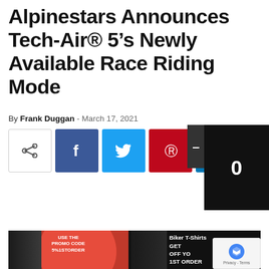Alpinestars Announces Tech-Air® 5's Newly Available Race Riding Mode
By Frank Duggan - March 17, 2021
[Figure (infographic): Social share buttons: share icon (outline), Facebook (blue), Twitter (cyan), Pinterest (red), LinkedIn (blue), Reddit (orange), Email (dark gray), and a black counter panel showing 0]
[Figure (photo): Advertisement banner showing two women in cafe racer t-shirts. Red circle background with text: USE THE PROMO CODE 5%1STORDER. Right side shows: Biker T-Shirts GET OFF YOUR 1ST ORDER]